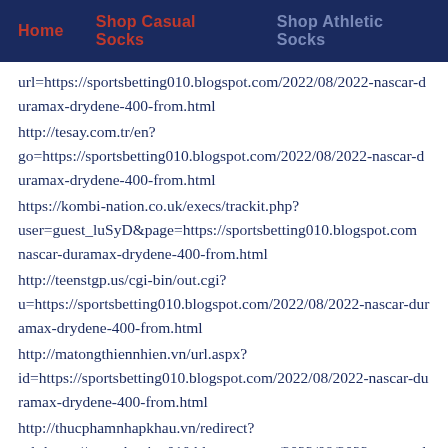Home  Shop Casual Socks  Shop Athletic Socks
url=https://sportsbetting010.blogspot.com/2022/08/2022-nascar-duramax-drydene-400-from.html
http://tesay.com.tr/en?go=https://sportsbetting010.blogspot.com/2022/08/2022-nascar-duramax-drydene-400-from.html
https://kombi-nation.co.uk/execs/trackit.php?user=guest_luSyD&page=https://sportsbetting010.blogspot.com nascar-duramax-drydene-400-from.html
http://teenstgp.us/cgi-bin/out.cgi?u=https://sportsbetting010.blogspot.com/2022/08/2022-nascar-duramax-drydene-400-from.html
http://matongthiennhien.vn/url.aspx?id=https://sportsbetting010.blogspot.com/2022/08/2022-nascar-duramax-drydene-400-from.html
http://thucphamnhapkhau.vn/redirect?url=https://sportsbetting010.blogspot.com/2022/08/2022-nascar-duramax-drydene-400-from.html